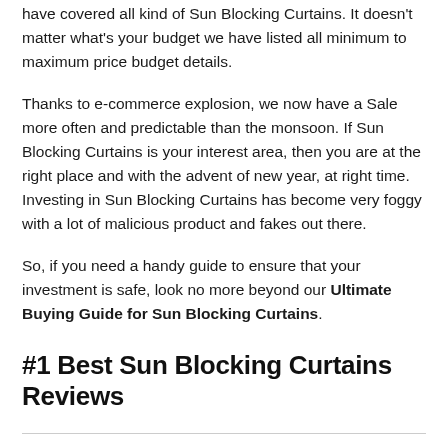have covered all kind of Sun Blocking Curtains. It doesn't matter what's your budget we have listed all minimum to maximum price budget details.
Thanks to e-commerce explosion, we now have a Sale more often and predictable than the monsoon. If Sun Blocking Curtains is your interest area, then you are at the right place and with the advent of new year, at right time. Investing in Sun Blocking Curtains has become very foggy with a lot of malicious product and fakes out there.
So, if you need a handy guide to ensure that your investment is safe, look no more beyond our Ultimate Buying Guide for Sun Blocking Curtains.
#1 Best Sun Blocking Curtains Reviews